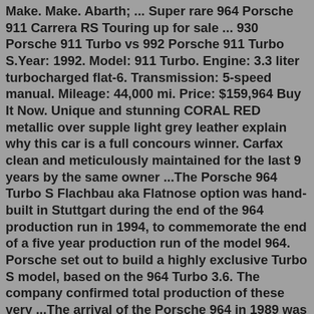Make. Make. Abarth; ... Super rare 964 Porsche 911 Carrera RS Touring up for sale ... 930 Porsche 911 Turbo vs 992 Porsche 911 Turbo S.Year: 1992. Model: 911 Turbo. Engine: 3.3 liter turbocharged flat-6. Transmission: 5-speed manual. Mileage: 44,000 mi. Price: $159,964 Buy It Now. Unique and stunning CORAL RED metallic over supple light grey leather explain why this car is a full concours winner. Carfax clean and meticulously maintained for the last 9 years by the same owner ...The Porsche 964 Turbo S Flachbau aka Flatnose option was hand-built in Stuttgart during the end of the 964 production run in 1994, to commemorate the end of a five year production run of the model 964. Porsche set out to build a highly exclusive Turbo S model, based on the 964 Turbo 3.6. The company confirmed total production of these very ...The arrival of the Porsche 964 in 1989 was to mark an important milestone for Porsche. An almost completely redesigned chassis to accommodate the all-wheel-drive system which had been developed for the 959 so as to be used in 911